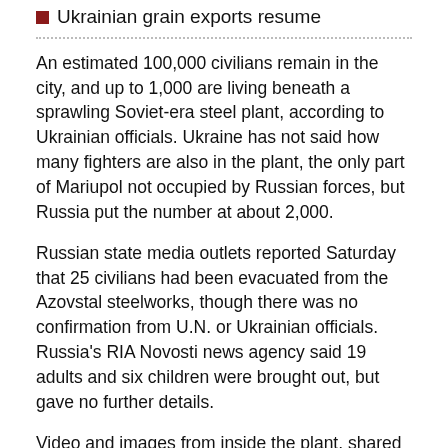Ukrainian grain exports resume
An estimated 100,000 civilians remain in the city, and up to 1,000 are living beneath a sprawling Soviet-era steel plant, according to Ukrainian officials. Ukraine has not said how many fighters are also in the plant, the only part of Mariupol not occupied by Russian forces, but Russia put the number at about 2,000.
Russian state media outlets reported Saturday that 25 civilians had been evacuated from the Azovstal steelworks, though there was no confirmation from U.N. or Ukrainian officials. Russia's RIA Novosti news agency said 19 adults and six children were brought out, but gave no further details.
Video and images from inside the plant, shared with The Associated Press by two Ukrainian women who said their husbands are among the fighters refusing to surrender there, showed unidentified men with stained bandages; others had open wounds or amputated limbs.